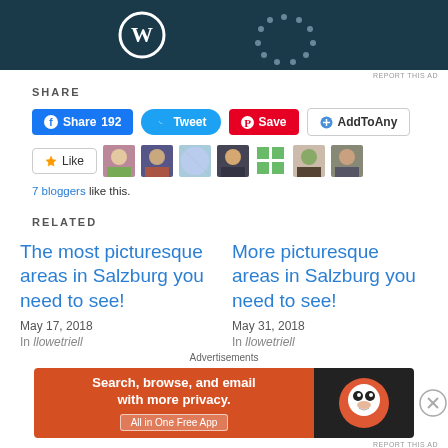[Figure (screenshot): WordPress advertisement banner (dark teal background with WordPress logo)]
REPORT THIS AD
SHARE
[Figure (screenshot): Share buttons: Facebook Share 192, Tweet, Pinterest Save, AddToAny]
[Figure (screenshot): Like button with 7 blogger avatars]
7 bloggers like this.
RELATED
The most picturesque areas in Salzburg you need to see!
May 17, 2018
More picturesque areas in Salzburg you need to see!
May 31, 2018
Advertisements
[Figure (screenshot): DuckDuckGo advertisement: Search, browse, and email with more privacy. All in One Free App]